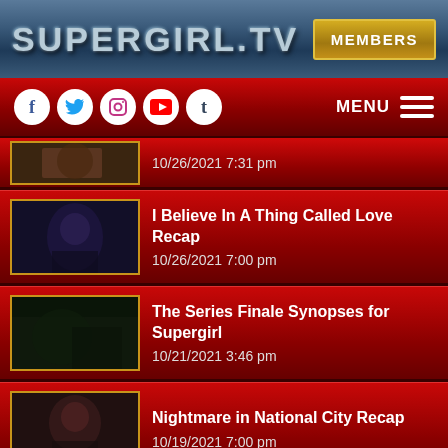SUPERGIRL.TV
10/26/2021 7:31 pm
I Believe In A Thing Called Love Recap
10/26/2021 7:00 pm
The Series Finale Synopses for Supergirl
10/21/2021 3:46 pm
Nightmare in National City Recap
10/19/2021 7:00 pm
I Believe In A Thing Called Love Gallery